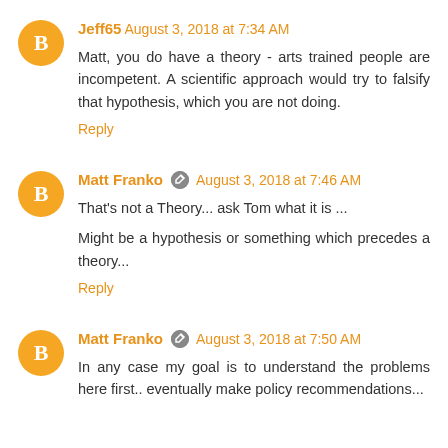Jeff65  August 3, 2018 at 7:34 AM
Matt, you do have a theory - arts trained people are incompetent. A scientific approach would try to falsify that hypothesis, which you are not doing.
Reply
Matt Franko  August 3, 2018 at 7:46 AM
That's not a Theory... ask Tom what it is ...
Might be a hypothesis or something which precedes a theory...
Reply
Matt Franko  August 3, 2018 at 7:50 AM
In any case my goal is to understand the problems here first.. eventually make policy recommendations...